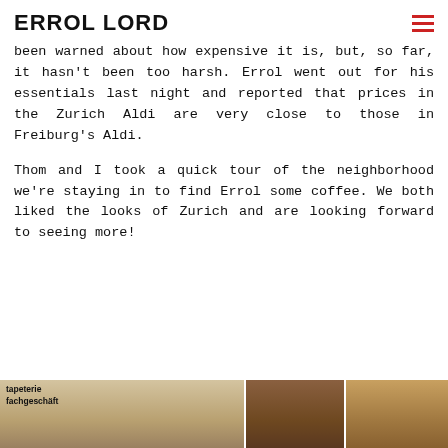ERROL LORD
been warned about how expensive it is, but, so far, it hasn't been too harsh. Errol went out for his essentials last night and reported that prices in the Zurich Aldi are very close to those in Freiburg's Aldi.
Thom and I took a quick tour of the neighborhood we're staying in to find Errol some coffee. We both liked the looks of Zurich and are looking forward to seeing more!
[Figure (photo): Bottom strip showing partial storefront photo with text 'tapeterie fachgeschäft' visible at left edge]